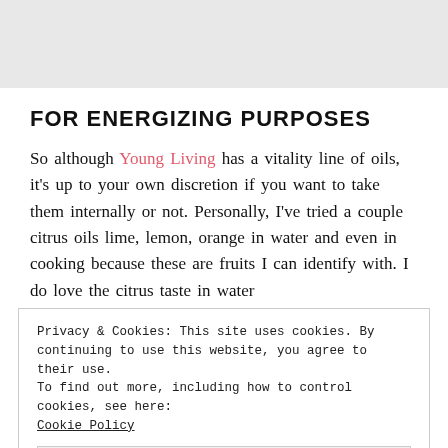[Figure (photo): Light gray placeholder image at top of page]
FOR ENERGIZING PURPOSES
So although Young Living has a vitality line of oils, it's up to your own discretion if you want to take them internally or not. Personally, I've tried a couple citrus oils lime, lemon, orange in water and even in cooking because these are fruits I can identify with. I do love the citrus taste in water
Privacy & Cookies: This site uses cookies. By continuing to use this website, you agree to their use.
To find out more, including how to control cookies, see here:
Cookie Policy
Close and accept
they are good for ingesting but I'm always a bit